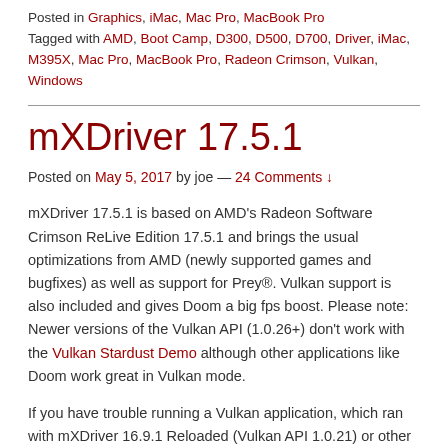Posted in Graphics, iMac, Mac Pro, MacBook Pro
Tagged with AMD, Boot Camp, D300, D500, D700, Driver, iMac, M395X, Mac Pro, MacBook Pro, Radeon Crimson, Vulkan, Windows
mXDriver 17.5.1
Posted on May 5, 2017 by joe — 24 Comments ↓
mXDriver 17.5.1 is based on AMD's Radeon Software Crimson ReLive Edition 17.5.1 and brings the usual optimizations from AMD (newly supported games and bugfixes) as well as support for Prey®. Vulkan support is also included and gives Doom a big fps boost. Please note: Newer versions of the Vulkan API (1.0.26+) don't work with the Vulkan Stardust Demo although other applications like Doom work great in Vulkan mode.
If you have trouble running a Vulkan application, which ran with mXDriver 16.9.1 Reloaded (Vulkan API 1.0.21) or other older drivers please see the FAQ for help. Read more ›